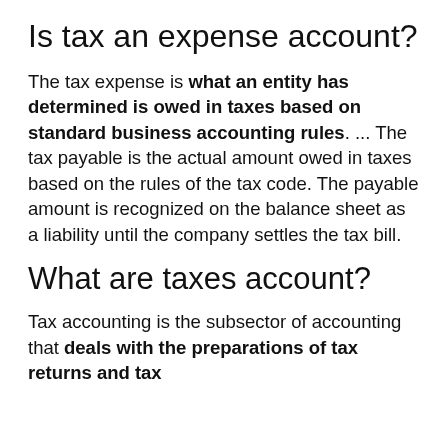Is tax an expense account?
The tax expense is what an entity has determined is owed in taxes based on standard business accounting rules. ... The tax payable is the actual amount owed in taxes based on the rules of the tax code. The payable amount is recognized on the balance sheet as a liability until the company settles the tax bill.
What are taxes account?
Tax accounting is the subsector of accounting that deals with the preparations of tax returns and tax